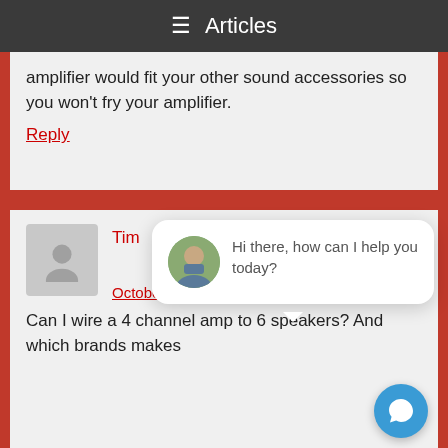≡  Articles
amplifier would fit your other sound accessories so you won't fry your amplifier.
Reply
Tim
October 4, 2020 at 3:17 am
Can I wire a 4 channel amp to 6 speakers? And which brands makes
[Figure (screenshot): Chat popup with avatar of a man smiling, message: Hi there, how can I help you today?]
[Figure (illustration): Blue circular chat button with speech bubble icon]